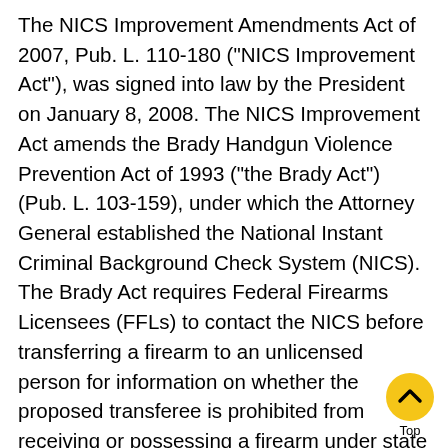The NICS Improvement Amendments Act of 2007, Pub. L. 110-180 ("NICS Improvement Act"), was signed into law by the President on January 8, 2008. The NICS Improvement Act amends the Brady Handgun Violence Prevention Act of 1993 ("the Brady Act") (Pub. L. 103-159), under which the Attorney General established the National Instant Criminal Background Check System (NICS). The Brady Act requires Federal Firearms Licensees (FFLs) to contact the NICS before transferring a firearm to an unlicensed person for information on whether the proposed transferee is prohibited from receiving or possessing a firearm under state or federal law. The NICS Improvement Act authorizes grants to be made in a manner consistent with the National Criminal History Improvement Program (NCHIP).